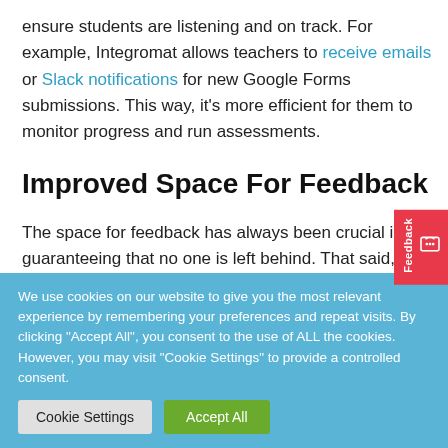ensure students are listening and on track. For example, Integromat allows teachers to receive emails or Slack notifications for new Google Forms submissions. This way, it's more efficient for them to monitor progress and run assessments.
Improved Space For Feedback
The space for feedback has always been crucial in guaranteeing that no one is left behind. That said, opportunities for online learning improvement are
We use cookies on our website to give you the most relevant experience by remembering your preferences and repeat visits. By clicking "Accept All", you consent to the use of ALL the cookies. However, you may visit "Cookie Settings" to provide a controlled consent.